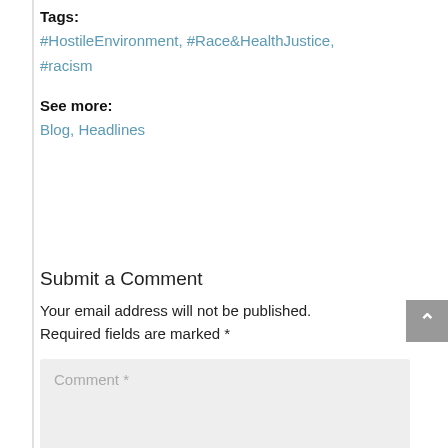Tags:
#HostileEnvironment, #Race&HealthJustice, #racism
See more:
Blog, Headlines
Submit a Comment
Your email address will not be published. Required fields are marked *
Comment *